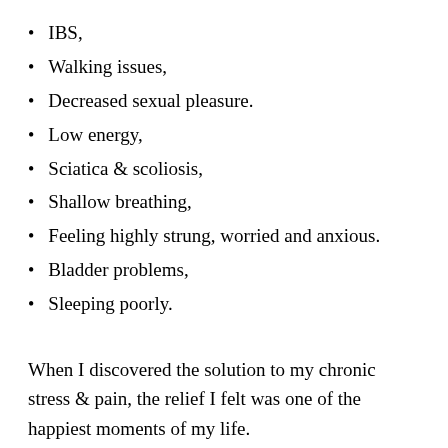IBS,
Walking issues,
Decreased sexual pleasure.
Low energy,
Sciatica & scoliosis,
Shallow breathing,
Feeling highly strung, worried and anxious.
Bladder problems,
Sleeping poorly.
When I discovered the solution to my chronic stress & pain, the relief I felt was one of the happiest moments of my life.